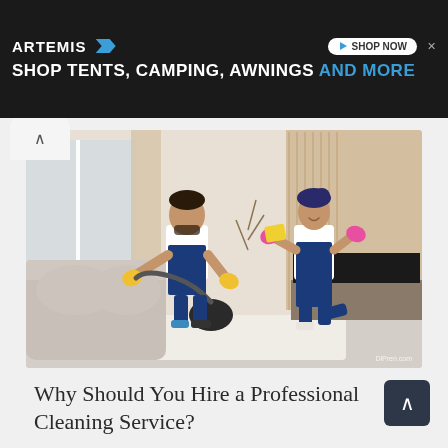[Figure (infographic): Advertisement banner for Artemis brand: dark background with 'ARTEMIS' logo with blue chevron, 'SHOP NOW' button on the right, and tagline 'SHOP TENTS, CAMPING, AWNINGS AND MORE' in bold white and blue text.]
[Figure (photo): Two professional cleaners in white shirts and blue aprons working in a modern living room. A man with yellow rubber gloves vacuums a grey sofa, while a woman with pink rubber gloves wipes a flat-screen TV with a yellow cloth. Watermark 'DIPren.com' in lower right corner.]
Why Should You Hire a Professional Cleaning Service?